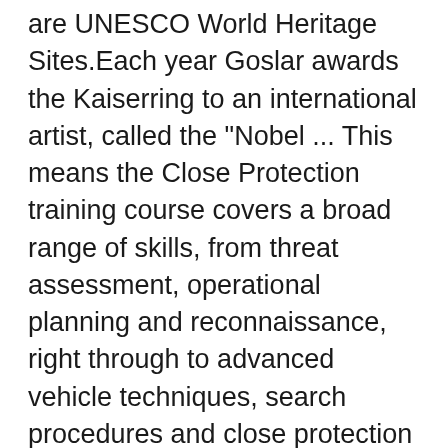are UNESCO World Heritage Sites.Each year Goslar awards the Kaiserring to an international artist, called the "Nobel ... This means the Close Protection training course covers a broad range of skills, from threat assessment, operational planning and reconnaissance, right through to advanced vehicle techniques, search procedures and close protection teamwork. Ipswich Town Training Centre Playford Road Ipswich IP4 5RQ Email: academy@itfc.co.uk We're located on the corner of Northgate Street and Great Colman Street, offers a relaxed learning environment. This neighbourhood brings together cultural, sporting, faith, medical, arts and educational organisations with the residential and business communities. Continue on A1214 until you reach the large roundabout signposted Felixstowe A14, Colchester A12, Ipswich town centre. Purchased by Artisan (UK) Developments prior to the financial crash of 2008, the site, just 2.5 miles from Ipswich ... Pentagon